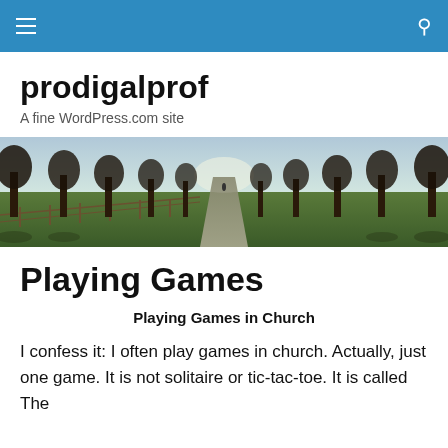prodigalprof navigation bar
prodigalprof
A fine WordPress.com site
[Figure (photo): A tree-lined path or avenue with bare winter trees on both sides, green grass, a wooden fence on the left, and a misty path leading into the distance with a figure visible far away.]
Playing Games
Playing Games in Church
I confess it: I often play games in church. Actually, just one game.  It is not solitaire or tic-tac-toe.  It is called The